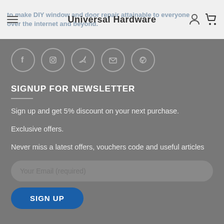Universal Hardware
to make DIY window and door repair attainable to everyone over the internet and beyond.
[Figure (other): Social media icon circles: Facebook, Instagram, Twitter, Email, Pinterest]
SIGNUP FOR NEWSLETTER
Sign up and get 5% discount on your next purchase.
Exclusive offers.
Never miss a latest offers, vouchers code and useful articles
Your Email (required)
SIGN UP